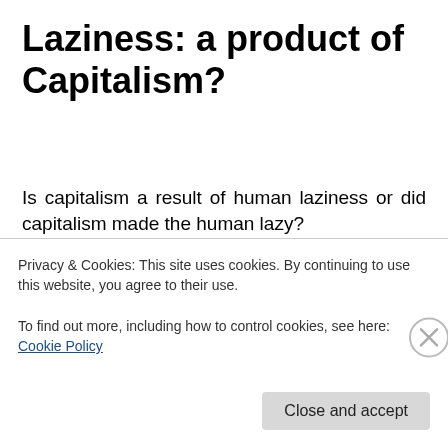Laziness: a product of Capitalism?
Is capitalism a result of human laziness or did capitalism made the human lazy?
What is the experience when paying someone to do things for us?
These are aspects of the realizations through comments and feedback we constantly get wherein the single act of
Privacy & Cookies: This site uses cookies. By continuing to use this website, you agree to their use.
To find out more, including how to control cookies, see here: Cookie Policy
Close and accept